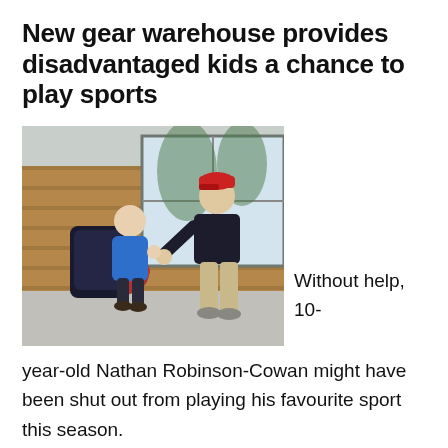New gear warehouse provides disadvantaged kids a chance to play sports
[Figure (photo): A man wearing a red cap and dark jacket bends down toward a child in a blue jacket who is carrying a large black backpack. They appear to be shaking or holding hands outside a brick building with large windows. Red flowers are visible in the background.]
Without help, 10-year-old Nathan Robinson-Cowan might have been shut out from playing his favourite sport this season.
For ett ha nte pn t hid fell dith the h a the f